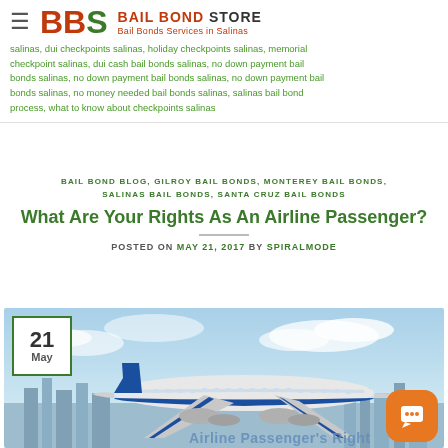BBS BAIL BOND STORE — Bail Bonds Services in Salinas
salinas, dui checkpoints salinas, holiday checkpoints salinas, memorial checkpoint salinas, dui cash bail bonds salinas, no down payment bail bonds salinas, no down payment bail bonds salinas, no money needed bail bonds salinas, salinas bail bond process, what to know about checkpoints salinas
BAIL BOND BLOG, GILROY BAIL BONDS, MONTEREY BAIL BONDS, SALINAS BAIL BONDS, SANTA CRUZ BAIL BONDS
What Are Your Rights As An Airline Passenger?
POSTED ON MAY 21, 2017 BY SPIRALMODE
[Figure (photo): Airplane in flight with city skyline in background. Text overlay reads 'Airline Passenger's Rights'. Date badge showing '21 May' in top left corner. Orange chat button in bottom right corner.]